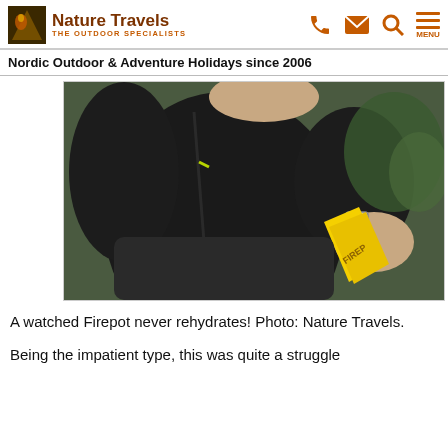Nature Travels — THE OUTDOOR SPECIALISTS
Nordic Outdoor & Adventure Holidays since 2006
[Figure (photo): A person in a black fleece jacket sitting outdoors on the ground, holding a yellow Firepot meal pouch. They are wearing a watch on their wrist. Green vegetation is visible in the background.]
A watched Firepot never rehydrates! Photo: Nature Travels.
Being the impatient type, this was quite a struggle